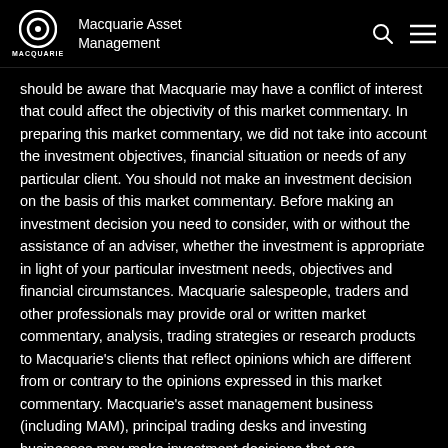Macquarie Asset Management
should be aware that Macquarie may have a conflict of interest that could affect the objectivity of this market commentary. In preparing this market commentary, we did not take into account the investment objectives, financial situation or needs of any particular client. You should not make an investment decision on the basis of this market commentary. Before making an investment decision you need to consider, with or without the assistance of an adviser, whether the investment is appropriate in light of your particular investment needs, objectives and financial circumstances. Macquarie salespeople, traders and other professionals may provide oral or written market commentary, analysis, trading strategies or research products to Macquarie's clients that reflect opinions which are different from or contrary to the opinions expressed in this market commentary. Macquarie's asset management business (including MAM), principal trading desks and investing businesses may make investment decisions that are inconsistent with the views expressed in this commentary. There are risks involved in investing. The price of securities and other financial products can and does fluctuate, and an individual security or